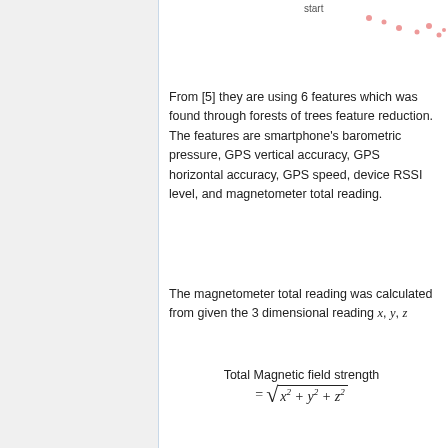[Figure (continuous-plot): Partial scatter plot visible at top-right corner showing scattered pink/red dots, likely continuation from previous page. Label 'start' partially visible.]
From [5] they are using 6 features which was found through forests of trees feature reduction. The features are smartphone's barometric pressure, GPS vertical accuracy, GPS horizontal accuracy, GPS speed, device RSSI level, and magnetometer total reading.
The magnetometer total reading was calculated from given the 3 dimensional reading x, y, z